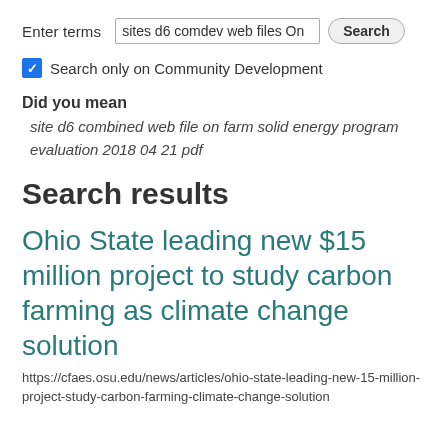Enter terms  sites d6 comdev web files On  Search
Search only on Community Development
Did you mean
site d6 combined web file on farm solid energy program evaluation 2018 04 21 pdf
Search results
Ohio State leading new $15 million project to study carbon farming as climate change solution
https://cfaes.osu.edu/news/articles/ohio-state-leading-new-15-million-project-study-carbon-farming-climate-change-solution